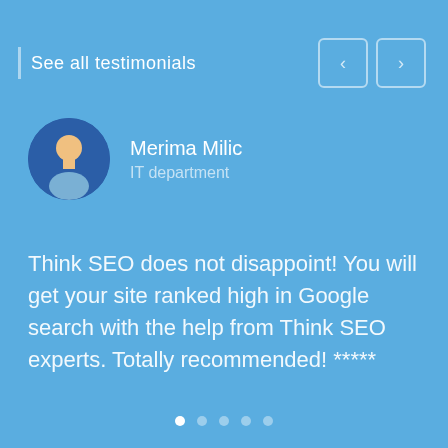See all testimonials
[Figure (illustration): User avatar: circular icon with a person silhouette in light blue/gray tones on a dark blue background]
Merima Milic
IT department
Think SEO does not disappoint! You will get your site ranked high in Google search with the help from Think SEO experts. Totally recommended! *****